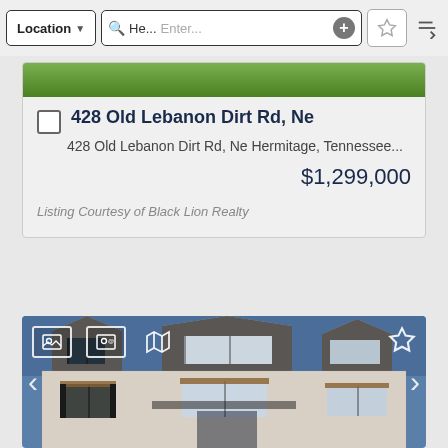[Figure (screenshot): Mobile real estate app navigation bar with Location dropdown, search field showing 'He...' and 'Enter...' placeholder, plus button, star/favorites button, and sort/filter icon]
[Figure (screenshot): Listing card for 428 Old Lebanon Dirt Rd, Ne Hermitage, Tennessee showing partial property photo (green trees), checkbox, address title, full address, price $1,299,000, and courtesy note]
428 Old Lebanon Dirt Rd, Ne
428 Old Lebanon Dirt Rd, Ne Hermitage, Tennessee...
$1,299,000
Listing Courtesy of Black Lion Realty
[Figure (photo): Exterior photo of a large two-story stone and brick house with dark roof, multiple gabled peaks, large windows with dark shutters, under a blue sky. Navigation arrows on left and right sides, photo/contact/map icons in top left, star icon top right.]